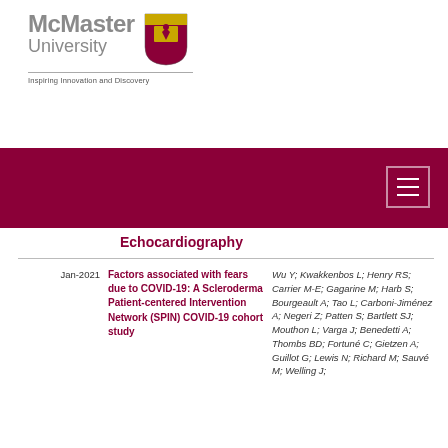[Figure (logo): McMaster University logo with shield crest and tagline 'Inspiring Innovation and Discovery']
Echocardiography
Jan-2021
Factors associated with fears due to COVID-19: A Scleroderma Patient-centered Intervention Network (SPIN) COVID-19 cohort study
Wu Y; Kwakkenbos L; Henry RS; Carrier M-E; Gagarine M; Harb S; Bourgeault A; Tao L; Carboni-Jiménez A; Negeri Z; Patten S; Bartlett SJ; Mouthon L; Varga J; Benedetti A; Thombs BD; Fortuné C; Gietzen A; Guillot G; Lewis N; Richard M; Sauvé M; Welling J;